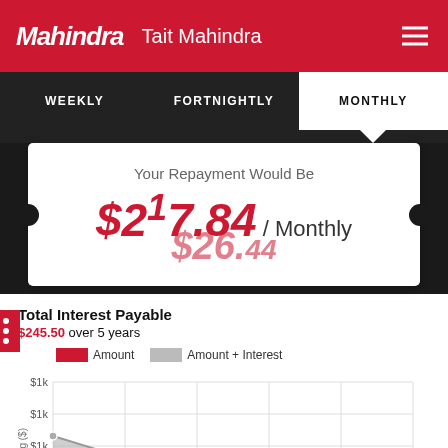Mahindra | Tait Mahindra
WEEKLY   FORTNIGHTLY   MONTHLY
Your Repayment Would Be
$267.84 / Monthly
Total Interest Payable
$245.50 over 5 years
[Figure (area-chart): Two declining area series showing Amount (red) and Amount + Interest (grey) over 5 years, y-axis labeled in $1k increments]